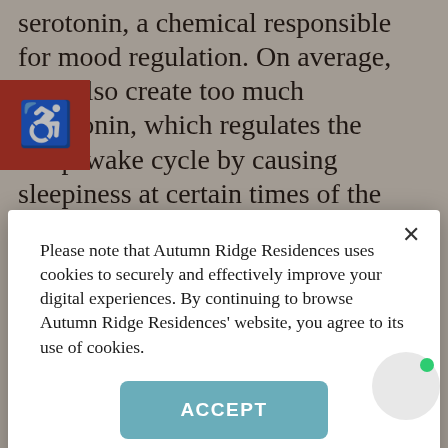serotonin, a chemical responsible for mood regulation. On average, they also create too much melatonin, which regulates the sleep-wake cycle by causing sleepiness at certain times of the day. Vitamin D, which is found in
[Figure (illustration): Red square accessibility icon button with white wheelchair symbol]
Please note that Autumn Ridge Residences uses cookies to securely and effectively improve your digital experiences. By continuing to browse Autumn Ridge Residences' website, you agree to its use of cookies.
to you or your loved one's inability to adapt to a dark and potentially lonely winter. In addition to providing a detailed schedule of activities focusing on your unique interests, which may include crafts, games, fitness, or